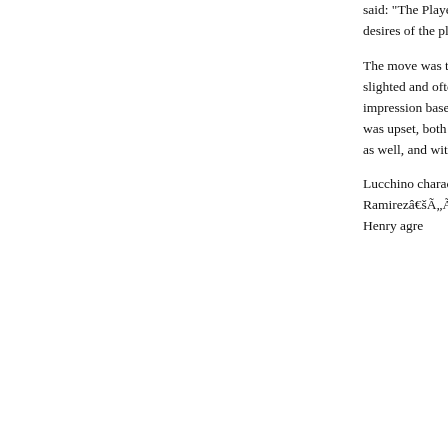said: "The Players Association asserts that it and player mobility. However, in this high-pro contrary to the desires of the player. We app Cynthia Rodriguez have shown in their effort
The move was typical of Lucchinoâ€šÃ„Ã´s d and despite the high esteem in which his ma sense of being slighted and often seemed to adversary for years. If Orza was being difficu down. But by trying to create the impression baseballâ€šÃ„Ã´s highest paid player, Lucc stand about the issue. And now, not only was to him, was upset, both that Lucchino would that Lucchino would draw Rodriguezâ€šÃ„Ã Tom Hicks was annoyed as well, and within d Lucchino had been pulled off of the A-Rod ne
Lucchino characterizes what happened diffe union negotiations and his efforts to get Hick augment Manny Ramirezâ€šÃ„Ã´s salary. 'A 'One of you guys should try to talk to [Hicks], â€šÃ„Â²Iâ€šÃ„Ã´ll call him." John Henry agre